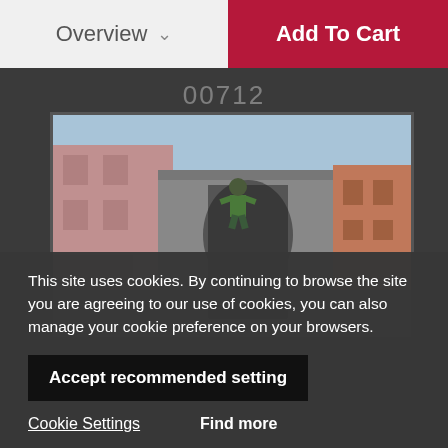Overview  ∨       Add To Cart
00712
[Figure (screenshot): Video game screenshot showing a soldier climbing a concrete wall between buildings in an urban environment]
This site uses cookies. By continuing to browse the site you are agreeing to our use of cookies, you can also manage your cookie preference on your browsers.
Accept recommended setting
Cookie Settings     Find more